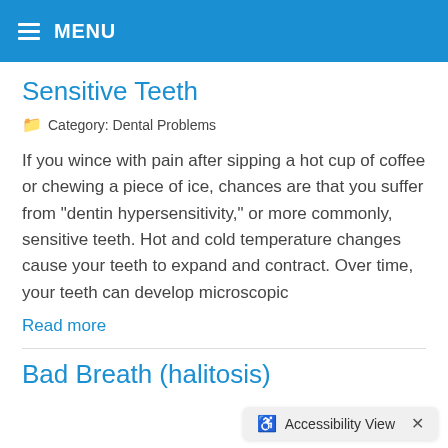MENU
Sensitive Teeth
Category: Dental Problems
If you wince with pain after sipping a hot cup of coffee or chewing a piece of ice, chances are that you suffer from "dentin hypersensitivity," or more commonly, sensitive teeth. Hot and cold temperature changes cause your teeth to expand and contract. Over time, your teeth can develop microscopic
Read more
Bad Breath (halitosis)
Accessibility View